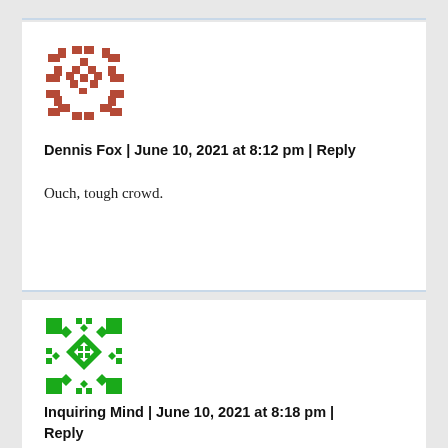[Figure (illustration): Red geometric/pixelated avatar icon resembling a snowflake pattern]
Dennis Fox | June 10, 2021 at 8:12 pm | Reply
Ouch, tough crowd.
[Figure (illustration): Green geometric/pixelated avatar icon with diamond pattern]
Inquiring Mind | June 10, 2021 at 8:18 pm | Reply
Steve, How about it, how about the...